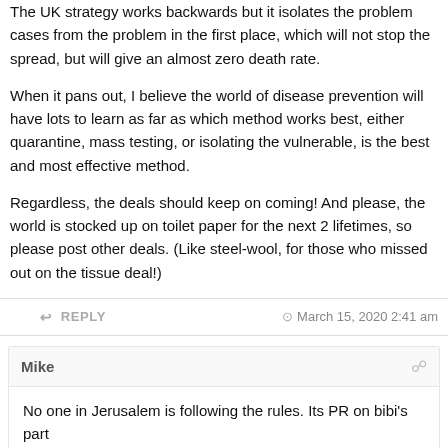The UK strategy works backwards but it isolates the problem cases from the problem in the first place, which will not stop the spread, but will give an almost zero death rate.
When it pans out, I believe the world of disease prevention will have lots to learn as far as which method works best, either quarantine, mass testing, or isolating the vulnerable, is the best and most effective method.
Regardless, the deals should keep on coming! And please, the world is stocked up on toilet paper for the next 2 lifetimes, so please post other deals. (Like steel-wool, for those who missed out on the tissue deal!)
↩ REPLY
⊙ March 15, 2020 2:41 am
Mike
No one in Jerusalem is following the rules. Its PR on bibi's part